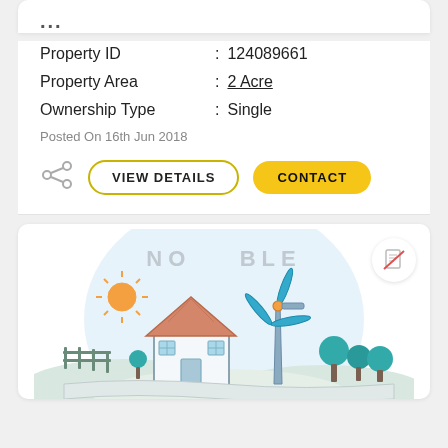...
Property ID : 124089661
Property Area : 2 Acre
Ownership Type : Single
Posted On 16th Jun 2018
[Figure (illustration): Farm scene illustration with house, windmill, trees, fence, sun, rolling hills, with 'NOT AVAILABLE' watermark text overlay and a no-edit icon in the top right]
VIEW DETAILS
CONTACT